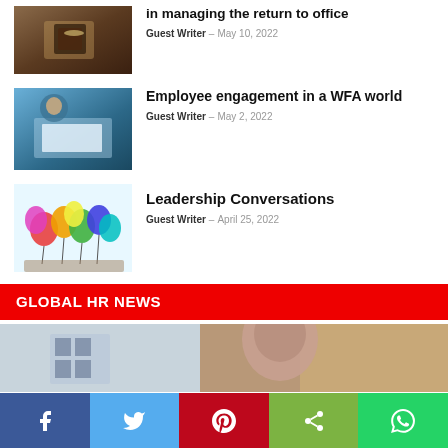[Figure (photo): Coffee cup on table thumbnail]
in managing the return to office
Guest Writer - May 10, 2022
[Figure (photo): Person working at laptop thumbnail]
Employee engagement in a WFA world
Guest Writer - May 2, 2022
[Figure (photo): Colorful balloons thumbnail]
Leadership Conversations
Guest Writer - April 25, 2022
GLOBAL HR NEWS
[Figure (photo): Woman in front of building photo]
[Figure (infographic): Social media sharing buttons: Facebook, Twitter, Pinterest, Share, WhatsApp]